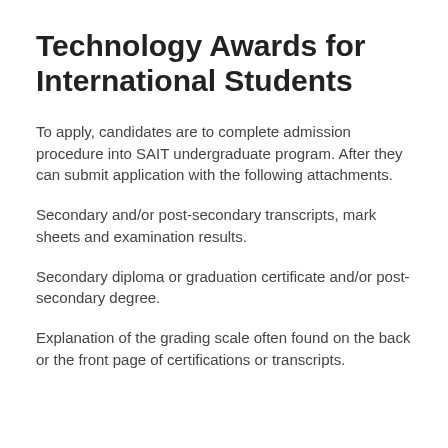Technology Awards for International Students
To apply, candidates are to complete admission procedure into SAIT undergraduate program. After they can submit application with the following attachments.
Secondary and/or post-secondary transcripts, mark sheets and examination results.
Secondary diploma or graduation certificate and/or post-secondary degree.
Explanation of the grading scale often found on the back or the front page of certifications or transcripts.